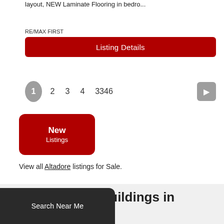layout, NEW Laminate Flooring in bedro...
RE/MAX FIRST
Listing Details
1  2  3  4  3346
New Listings
View all Altadore listings for Sale.
Top Condo Buildings in Calgary
Search Near Me